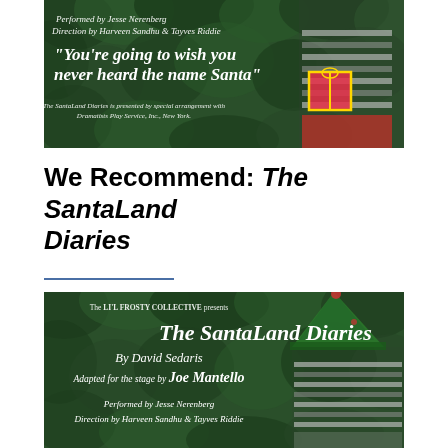[Figure (photo): Promotional image for The SantaLand Diaries showing a person in a striped shirt holding a red gift, against a green foliage background, with white italic text overlay: 'Performed by Jesse Nerenberg, Direction by Harveen Sandhu & Tayves Riddie' and quote 'You're going to wish you never heard the name Santa' and 'The SantaLand Diaries is presented by special arrangement with Dramatists Play Service, Inc., New York.']
We Recommend: The SantaLand Diaries
[Figure (photo): Promotional poster for The SantaLand Diaries by The Li'l Frosty Collective showing a person wearing an elf hat against green foliage. Text includes: 'The Li'l Frosty Collective presents', 'The SantaLand Diaries', 'By David Sedaris', 'Adapted for the stage by Joe Mantello', 'Performed by Jesse Nerenberg', 'Direction by Harveen Sandhu & Tayves Riddie']